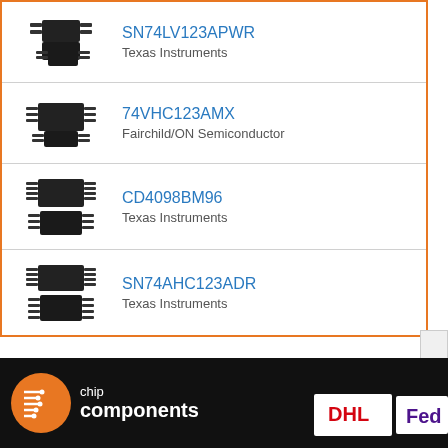SN74LV123APWR — Texas Instruments
74VHC123AMX — Fairchild/ON Semiconductor
CD4098BM96 — Texas Instruments
SN74AHC123ADR — Texas Instruments
[Figure (logo): chip components logo with orange circle icon and white text on black footer]
[Figure (logo): DHL shipping logo in red and yellow]
[Figure (logo): FedEx logo in purple and orange, partially visible]